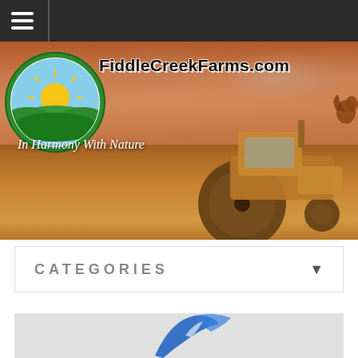Navigation menu bar with hamburger icon
[Figure (logo): FiddleCreekFarms.com website screenshot showing hero banner with farm logo (green circle with sun rising over farm fields), site title 'FiddleCreekFarms.com' in bold black text, tagline 'In Harmony With Nature' in italic white, and a tractor in a golden wheat field background]
CATEGORIES
[Figure (photo): Partial image at bottom of page showing what appears to be a blue and white bird or wing shape on a light gray background]